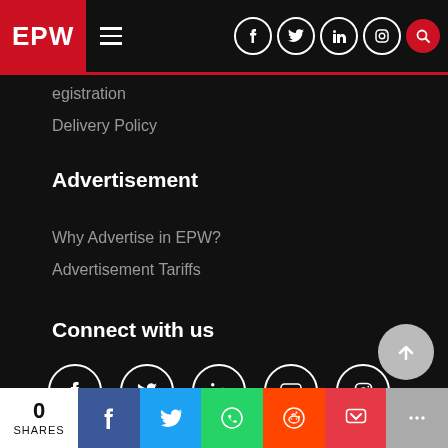EPW navigation bar with logo, hamburger menu, and social icons
egistration
Delivery Policy
Advertisement
Why Advertise in EPW?
Advertisement Tariffs
Connect with us
[Figure (infographic): Row of social media icons: Facebook, Twitter, LinkedIn, YouTube, Instagram]
[Figure (infographic): Share bar with 0 shares, Facebook, Twitter, WhatsApp, Reddit, Pocket, More buttons]